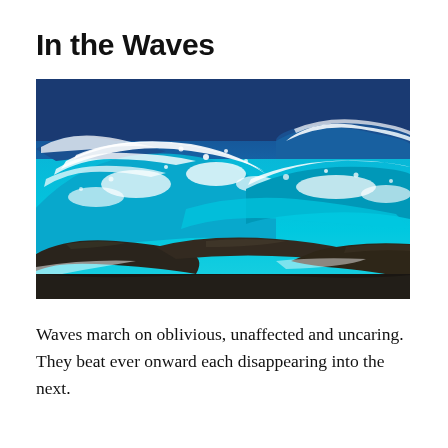In the Waves
[Figure (photo): Ocean waves crashing over rocks, with vivid blue and turquoise water topped with white sea foam, and dark rocky shoreline in the foreground.]
Waves march on oblivious, unaffected and uncaring. They beat ever onward each disappearing into the next.